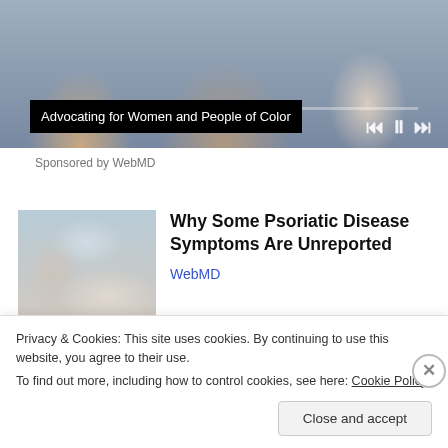[Figure (photo): Video thumbnail showing people in a meeting/discussion setting, with media playback controls and a progress bar overlay. Title overlay reads 'Advocating for Women and People of Color'.]
Advocating for Women and People of Color
Sponsored by WebMD
[Figure (photo): Thumbnail image of a doctor or medical professional with hands visible, appearing to discuss or write something.]
Why Some Psoriatic Disease Symptoms Are Unreported
WebMD
Privacy & Cookies: This site uses cookies. By continuing to use this website, you agree to their use.
To find out more, including how to control cookies, see here: Cookie Policy